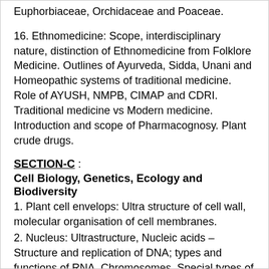Euphorbiaceae, Orchidaceae and Poaceae.
16. Ethnomedicine: Scope, interdisciplinary nature, distinction of Ethnomedicine from Folklore Medicine. Outlines of Ayurveda, Sidda, Unani and Homeopathic systems of traditional medicine. Role of AYUSH, NMPB, CIMAP and CDRI. Traditional medicine vs Modern medicine. Introduction and scope of Pharmacognosy. Plant crude drugs.
SECTION-C :
Cell Biology, Genetics, Ecology and Biodiversity
1. Plant cell envelops: Ultra structure of cell wall, molecular organisation of cell membranes.
2. Nucleus: Ultrastructure, Nucleic acids – Structure and replication of DNA; types and functions of RNA, Chromosomes, Special types of chromosomes: Lampbrush, polytene and B – chromosomes.
3. Cell division: Cell cycle and its regulation; (mitosis,